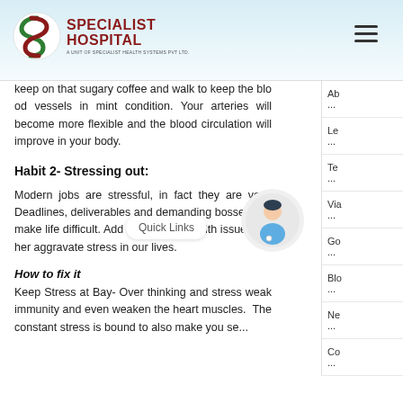Specialist Hospital — A Unit of Specialist Health Systems Pvt Ltd
keep on that sugary coffee and walk to keep the blood vessels in mint condition. Your arteries will become more flexible and the blood circulation will improve in your body.
Habit 2- Stressing out:
Modern jobs are stressful, in fact they are very. Deadlines, deliverables and demanding bosses can make life difficult. Add to it, family, health issues further aggravate stress in our lives.
How to fix it
Keep Stress at Bay- Over thinking and stress weaken immunity and even weaken the heart muscles. The constant stress is bound to also make you se...